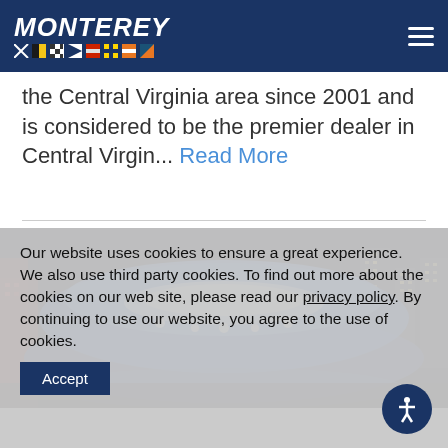MONTEREY
the Central Virginia area since 2001 and is considered to be the premier dealer in Central Virgin... Read More
[Figure (photo): Blue-lit boat on display at night with city buildings in background]
Our website uses cookies to ensure a great experience. We also use third party cookies. To find out more about the cookies on our web site, please read our privacy policy. By continuing to use our website, you agree to the use of cookies.